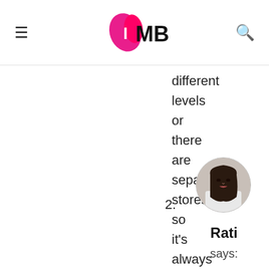IMBB (logo)
different levels or there are separate stores so it's always comforta
Reply
2.
[Figure (photo): Avatar photo of commenter Rati, a woman with dark hair]
Rati
says: